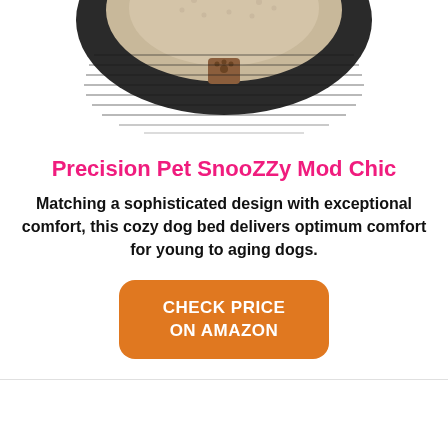[Figure (photo): Top-down partial view of a round pet bed with black exterior border and beige/tan sherpa interior, featuring a small brown leather paw print label in the center]
Precision Pet SnooZZy Mod Chic
Matching a sophisticated design with exceptional comfort, this cozy dog bed delivers optimum comfort for young to aging dogs.
CHECK PRICE ON AMAZON